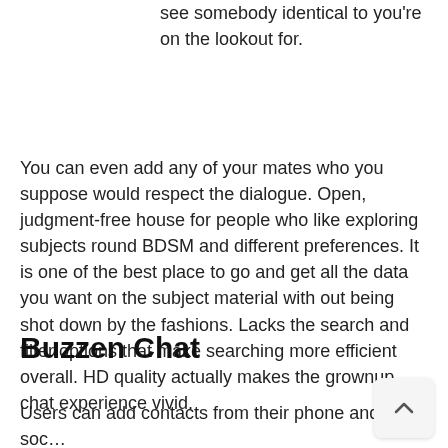its only a few matter of time that you can see somebody identical to you're on the lookout for.
You can even add any of your mates who you suppose would respect the dialogue. Open, judgment-free house for people who like exploring subjects round BDSM and different preferences. It is one of the best place to go and get all the data you want on the subject material with out being shot down by the fashions. Lacks the search and filter options that make searching more efficient overall. HD quality actually makes the grownup chat experience vivid.
Buzzen Chat
Users can add contacts from their phone and soc...